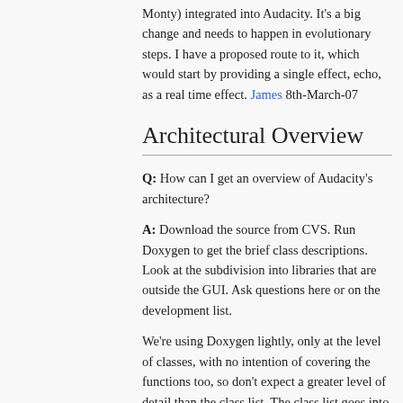Monty) integrated into Audacity. It's a big change and needs to happen in evolutionary steps. I have a proposed route to it, which would start by providing a single effect, echo, as a real time effect. James 8th-March-07
Architectural Overview
Q: How can I get an overview of Audacity's architecture?
A: Download the source from CVS. Run Doxygen to get the brief class descriptions. Look at the subdivision into libraries that are outside the GUI. Ask questions here or on the development list.
We're using Doxygen lightly, only at the level of classes, with no intention of covering the functions too, so don't expect a greater level of detail than the class list. The class list goes into more detail than the diagram above. You can get the same class information by browsing the source code. The class descriptions are all there in the source code. They are at the start